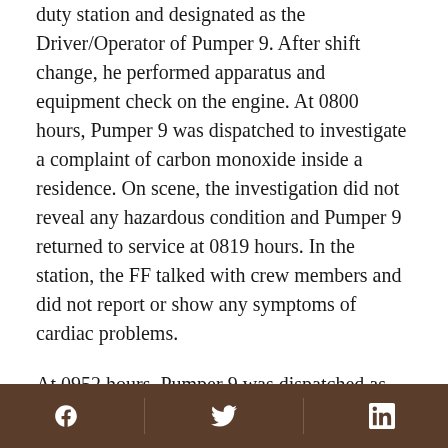duty station and designated as the Driver/Operator of Pumper 9. After shift change, he performed apparatus and equipment check on the engine. At 0800 hours, Pumper 9 was dispatched to investigate a complaint of carbon monoxide inside a residence. On scene, the investigation did not reveal any hazardous condition and Pumper 9 returned to service at 0819 hours. In the station, the FF talked with crew members and did not report or show any symptoms of cardiac problems.
At 0952 hours, Pumper 9 was dispatched as part of a first alarm complement to a reported kitchen fire in a single-family residence. The weather conditions included a temperature of 35 degrees Fahrenheit with 82% relative humidity, a 12.7 mile per hour wind speed gusting up to 22 miles per hour, freezing rain
[Facebook] [Twitter] [LinkedIn]